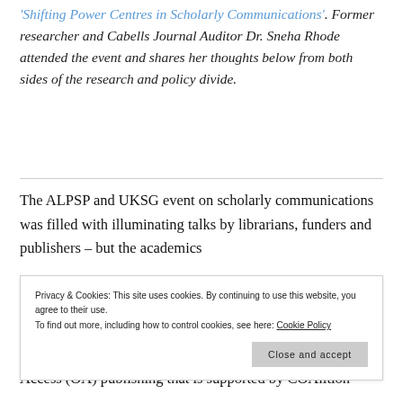'Shifting Power Centres in Scholarly Communications'. Former researcher and Cabells Journal Auditor Dr. Sneha Rhode attended the event and shares her thoughts below from both sides of the research and policy divide.
The ALPSP and UKSG event on scholarly communications was filled with illuminating talks by librarians, funders and publishers – but the academics
Privacy & Cookies: This site uses cookies. By continuing to use this website, you agree to their use. To find out more, including how to control cookies, see here: Cookie Policy
Access (OA) publishing that is supported by COAlition